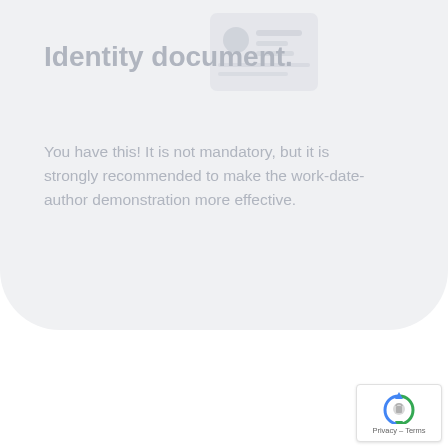[Figure (illustration): A faded/greyed-out illustration of an identity document (ID card) icon in the upper-right of the card area]
Identity document.
You have this! It is not mandatory, but it is strongly recommended to make the work-date-author demonstration more effective.
[Figure (logo): reCAPTCHA badge with arrows/recycle icon and 'Privacy – Terms' text at bottom right]